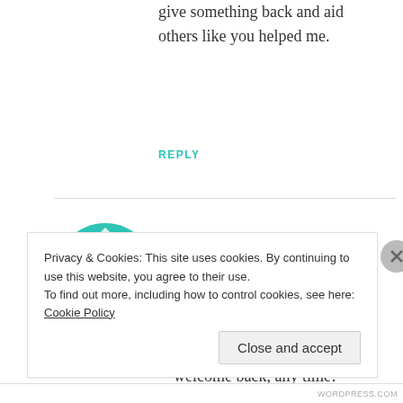give something back and aid others like you helped me.
REPLY
[Figure (illustration): Teal decorative avatar icon with geometric floral/cross pattern, circular shape]
1957chev
SEPTEMBER 23, 2014 AT 4:31 PM
Thank you so much, Casimira, welcome back, any time!
Privacy & Cookies: This site uses cookies. By continuing to use this website, you agree to their use.
To find out more, including how to control cookies, see here: Cookie Policy
Close and accept